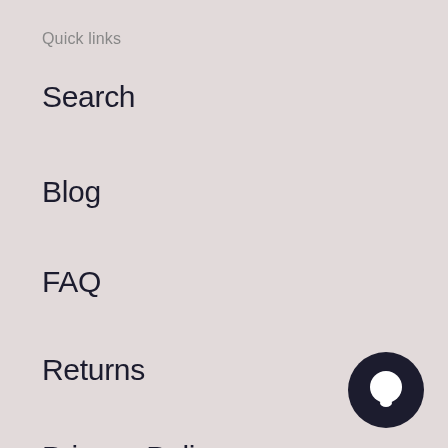Quick links
Search
Blog
FAQ
Returns
Privacy Policy
The Geek Side
Dedicated to bringing you anime, geek and con
[Figure (illustration): Dark circular chat bubble icon in bottom right corner]